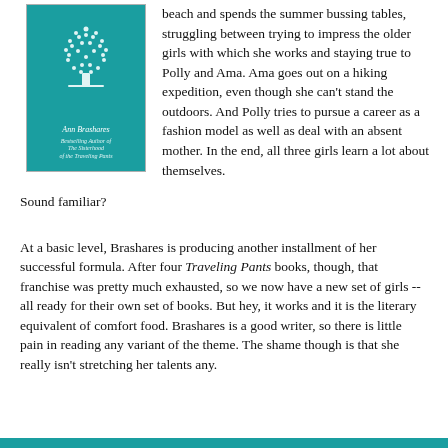[Figure (illustration): Book cover with teal background, decorative tree illustration, author name Ann Brashares, and subtitle text 'Bestselling Author of The Sisterhood of the Traveling Pants']
beach and spends the summer bussing tables, struggling between trying to impress the older girls with which she works and staying true to Polly and Ama. Ama goes out on a hiking expedition, even though she can't stand the outdoors. And Polly tries to pursue a career as a fashion model as well as deal with an absent mother. In the end, all three girls learn a lot about themselves.
Sound familiar?
At a basic level, Brashares is producing another installment of her successful formula. After four Traveling Pants books, though, that franchise was pretty much exhausted, so we now have a new set of girls -- all ready for their own set of books. But hey, it works and it is the literary equivalent of comfort food. Brashares is a good writer, so there is little pain in reading any variant of the theme. The shame though is that she really isn't stretching her talents any.